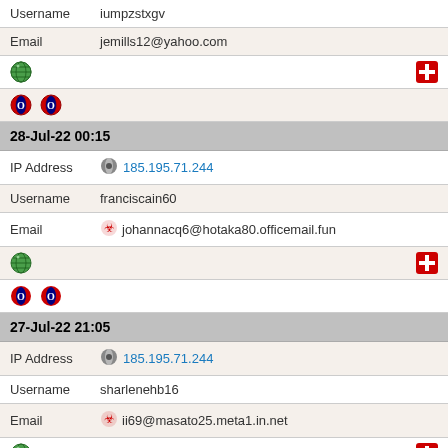Username  iumpzstxgv
Email  jemills12@yahoo.com
[globe icon] [plus icon]
[opera icon] [opera icon]
28-Jul-22 00:15
IP Address  185.195.71.244
Username  franciscain60
Email  johannacq6@hotaka80.officemail.fun
[globe icon] [plus icon]
[opera icon] [opera icon]
27-Jul-22 21:05
IP Address  185.195.71.244
Username  sharlenehb16
Email  ii69@masato25.meta1.in.net
[globe icon] [plus icon]
[opera icon]
27-Jul-22 16:33